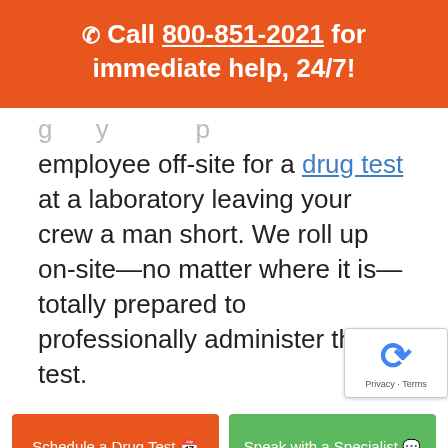📞 Call 800-851-2021 for immediate help, 24/7!
...g...y...p... employee off-site for a drug test at a laboratory leaving your crew a man short. We roll up on-site—no matter where it is—totally prepared to professionally administer the test.
Schedule a Drug Test
Speak with a Specialist
Contact us Online